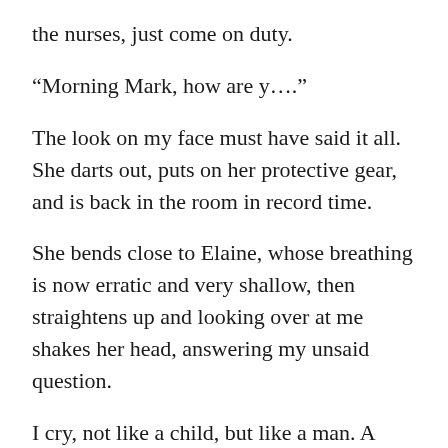the nurses, just come on duty.
“Morning Mark, how are y….”
The look on my face must have said it all. She darts out, puts on her protective gear, and is back in the room in record time.
She bends close to Elaine, whose breathing is now erratic and very shallow, then straightens up and looking over at me shakes her head, answering my unsaid question.
I cry, not like a child, but like a man. A child could not comprehend the depth and measure of this emotion, but I know it only too well, I cry because of love and loss, but mostly of love.